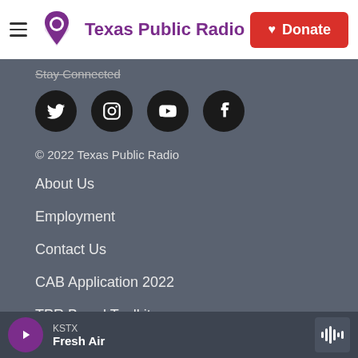Texas Public Radio | Donate
Stay Connected
[Figure (other): Four social media icons: Twitter, Instagram, YouTube, Facebook]
© 2022 Texas Public Radio
About Us
Employment
Contact Us
CAB Application 2022
TPR Brand Toolkit
Privacy Policy
KSTX Fresh Air